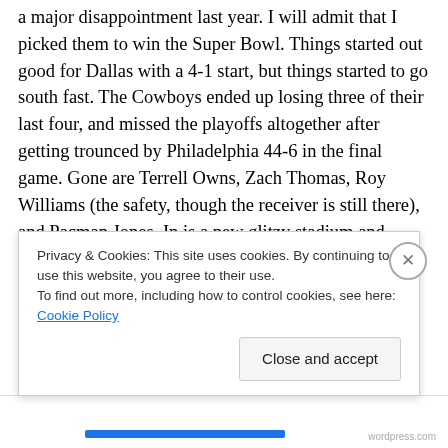a major disappointment last year.  I will admit that I picked them to win the Super Bowl.  Things started out good for Dallas with a 4-1 start, but things started to go south fast.  The Cowboys ended up losing three of their last four, and missed the playoffs altogether after getting trounced by Philadelphia 44-6 in the final game.  Gone are Terrell Owns, Zach Thomas, Roy Williams (the safety, though the receiver is still there), and Pacman Jones.  In is a new glitzy stadium and supposedly a better attitude.

Quarterback Tony Romo has a very good record as a starter (27-12), but he is just 5-10 in December and...
Privacy & Cookies: This site uses cookies. By continuing to use this website, you agree to their use. To find out more, including how to control cookies, see here: Cookie Policy
Close and accept